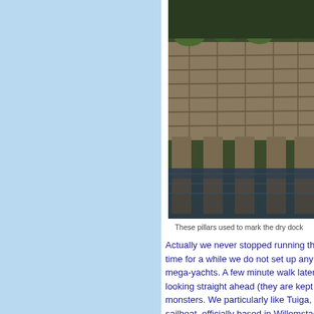[Figure (photo): Stone pillars/dock wall with water reflection in harbor]
These pillars used to mark the dry dock
Actually we never stopped running these days, w... time for a while we do not set up any alarm for... mega-yachts. A few minute walk later we find t... looking straight ahead (they are kept by securit... monsters. We particularly like Tuiga, a Fife desi... sailboat, officially based in Willemstad in the Har...
[Figure (photo): Sailboat masts and rigging in harbor with trees in background]